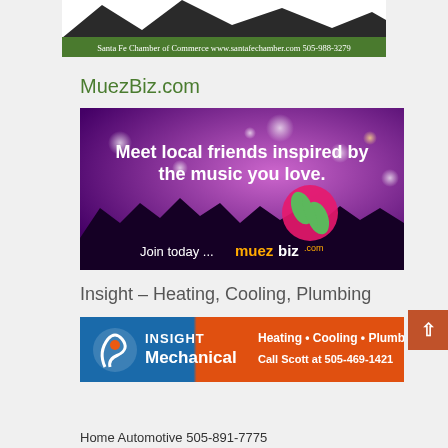[Figure (photo): Santa Fe Chamber of Commerce banner with mountain silhouette and text: Santa Fe Chamber of Commerce www.santafechamber.com 505-988-3279]
MuezBiz.com
[Figure (photo): MuezBiz advertisement with purple concert crowd background. Text: Meet local friends inspired by the music you love. Join today... muezbiz.com]
Insight – Heating, Cooling, Plumbing
[Figure (photo): Insight Mechanical advertisement. Heating · Cooling · Plumbing. Call Scott at 505-469-1421]